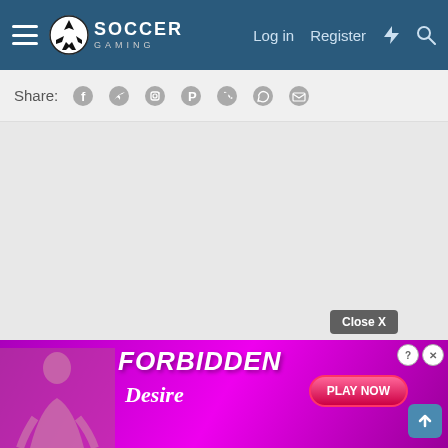Soccer Gaming - Navigation bar with Log in, Register links
Share:
[Figure (screenshot): Advertisement banner for 'Forbidden Desire' game with pink/purple background, silhouette figure, PLAY NOW button, and close icons]